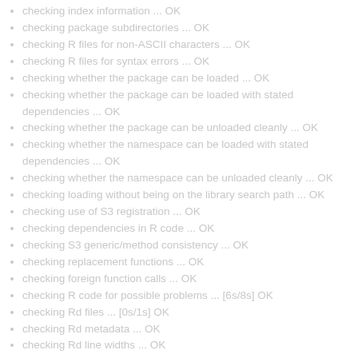checking index information ... OK
checking package subdirectories ... OK
checking R files for non-ASCII characters ... OK
checking R files for syntax errors ... OK
checking whether the package can be loaded ... OK
checking whether the package can be loaded with stated dependencies ... OK
checking whether the package can be unloaded cleanly ... OK
checking whether the namespace can be loaded with stated dependencies ... OK
checking whether the namespace can be unloaded cleanly ... OK
checking loading without being on the library search path ... OK
checking use of S3 registration ... OK
checking dependencies in R code ... OK
checking S3 generic/method consistency ... OK
checking replacement functions ... OK
checking foreign function calls ... OK
checking R code for possible problems ... [6s/8s] OK
checking Rd files ... [0s/1s] OK
checking Rd metadata ... OK
checking Rd line widths ... OK
checking Rd cross-references ... OK